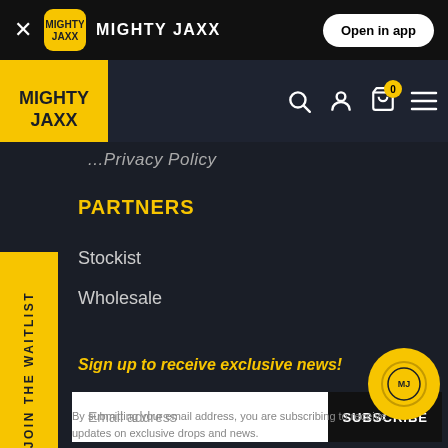MIGHTY JAXX — Open in app
[Figure (screenshot): Mighty Jaxx website navigation header with logo, search, account, cart (0), and menu icons]
...Privacy Policy
PARTNERS
Stockist
Wholesale
Sign up to receive exclusive news!
Email address
SUBSCRIBE
By submitting your email address, you are subscribing to receive updates on exclusive drops and news.